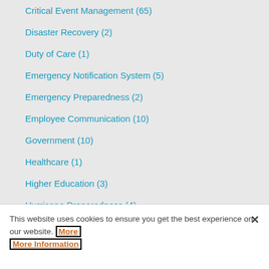Critical Event Management (65)
Disaster Recovery (2)
Duty of Care (1)
Emergency Notification System (5)
Emergency Preparedness (2)
Employee Communication (10)
Government (10)
Healthcare (1)
Higher Education (3)
Hurricane Preparedness (4)
This website uses cookies to ensure you get the best experience on our website. More Information